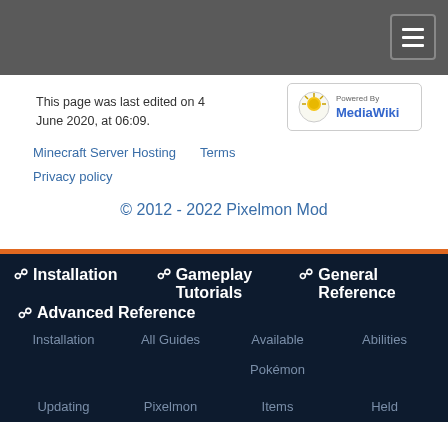This page was last edited on 4 June 2020, at 06:09.
[Figure (logo): Powered By MediaWiki logo]
Minecraft Server Hosting
Terms
Privacy policy
© 2012 - 2022 Pixelmon Mod
Installation
Gameplay Tutorials
General Reference
Advanced Reference
Installation
All Guides
Available Pokémon
Abilities
Updating
Pixelmon
Items
Held